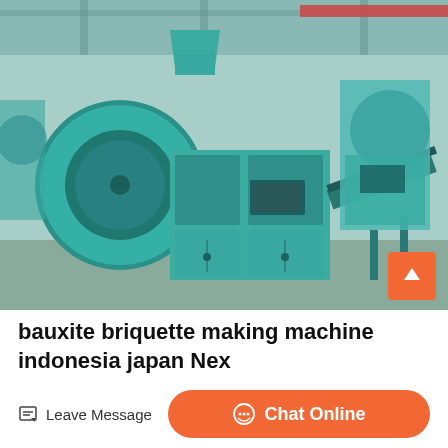[Figure (photo): Photograph of teal/green colored bauxite briquette making machines inside an industrial warehouse. Multiple large briquette press machines with rollers, hoppers, and conveyor belts are visible.]
bauxite briquette making machine indonesia japan Nex
Leave Message
Chat Online